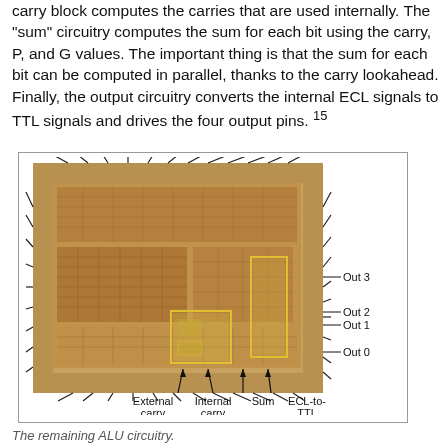carry block computes the carries that are used internally. The "sum" circuitry computes the sum for each bit using the carry, P, and G values. The important thing is that the sum for each bit can be computed in parallel, thanks to the carry lookahead. Finally, the output circuitry converts the internal ECL signals to TTL signals and drives the four output pins. 15
[Figure (photo): Sepia-toned die photo of an ALU chip with annotated regions. Labels on the right side point to Out 3, Out 2, Out 1, Out 0 output pins. Labels at the bottom point to External carry, Internal carry, Sum, and ECL-to-TTL regions highlighted in yellow outlines.]
The remaining ALU circuitry.